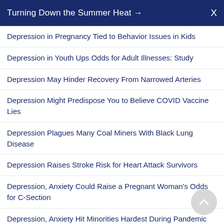Turning Down the Summer Heat →  X
Depression in Pregnancy Tied to Behavior Issues in Kids
Depression in Youth Ups Odds for Adult Illnesses: Study
Depression May Hinder Recovery From Narrowed Arteries
Depression Might Predispose You to Believe COVID Vaccine Lies
Depression Plagues Many Coal Miners With Black Lung Disease
Depression Raises Stroke Risk for Heart Attack Survivors
Depression, Anxiety Could Raise a Pregnant Woman's Odds for C-Section
Depression, Anxiety Hit Minorities Hardest During Pandemic
Despite Predictions, Loneliness Not Rising for Americans Under Lockdown